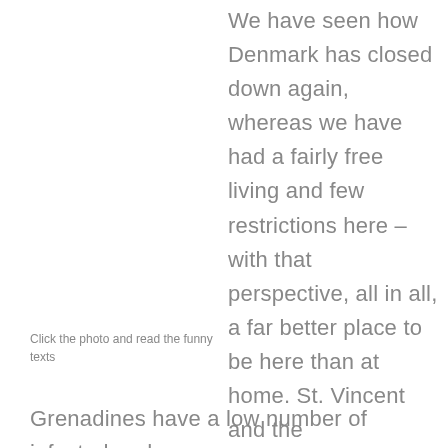We have seen how Denmark has closed down again, whereas we have had a fairly free living and few restrictions here – with that perspective, all in all, a far better place to be here than at home. St. Vincent and the Grenadines have a low number of infected and
Click the photo and read the funny texts